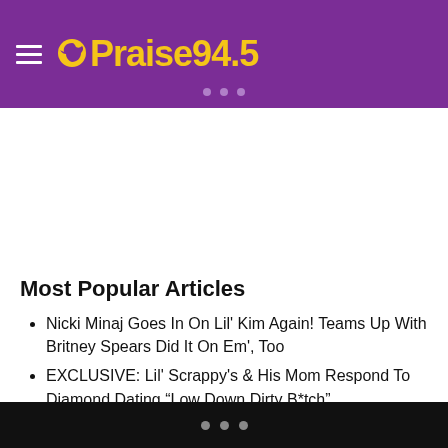Praise 94.5
Most Popular Articles
Nicki Minaj Goes In On Lil' Kim Again! Teams Up With Britney Spears Did It On Em', Too
EXCLUSIVE: Lil' Scrappy's & His Mom Respond To Diamond Dating “Low Down Dirty B*tch”
Soulja Boy Got A New Boo? And She’s Just As Play’d Out As